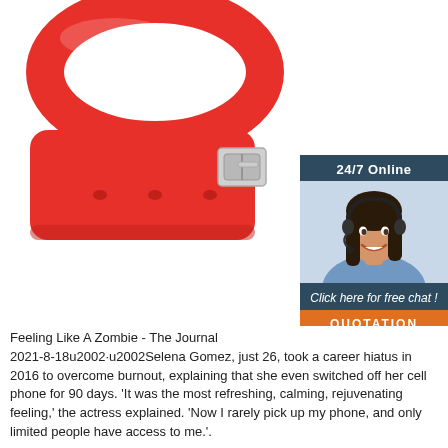[Figure (photo): A red silicone wristband/bracelet with a metal clasp buckle, photographed on a white background. The band is bright red with small holes along its length.]
[Figure (infographic): Advertisement box with dark blue background showing '24/7 Online', a photo of a smiling woman with a headset, 'Click here for free chat!', and an orange 'QUOTATION' button.]
Feeling Like A Zombie - The Journal
2021-8-18u2002·u2002Selena Gomez, just 26, took a career hiatus in 2016 to overcome burnout, explaining that she even switched off her cell phone for 90 days. 'It was the most refreshing, calming, rejuvenating feeling,' the actress explained. 'Now I rarely pick up my phone, and only limited people have access to me.'.